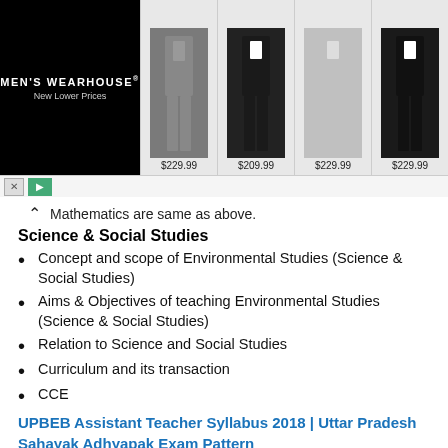[Figure (screenshot): Men's Wearhouse advertisement banner showing four suits with prices $229.99, $209.99, $229.99, $229.99]
Mathematics are same as above.
Science & Social Studies
Concept and scope of Environmental Studies (Science & Social Studies)
Aims & Objectives of teaching Environmental Studies (Science & Social Studies)
Relation to Science and Social Studies
Curriculum and its transaction
CCE
UPBEB Assistant Teacher Syllabus 2018 | Uttar Pradesh Sahayak Adhyapak Exam Pattern